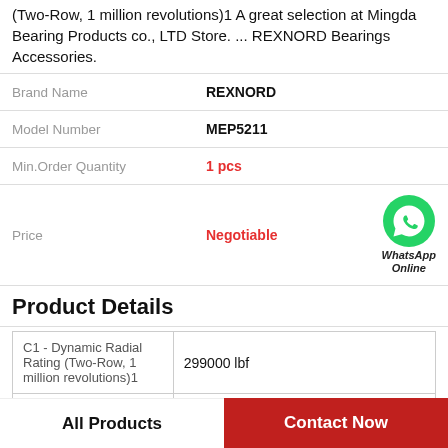(Two-Row, 1 million revolutions)1 A great selection at Mingda Bearing Products co., LTD Store. ... REXNORD Bearings Accessories.
| Attribute | Value |
| --- | --- |
| Brand Name | REXNORD |
| Model Number | MEP5211 |
| Min.Order Quantity | 1 pcs |
| Price | Negotiable |
[Figure (logo): WhatsApp Online green phone icon with text 'WhatsApp Online']
Product Details
| Property | Value |
| --- | --- |
| C1 - Dynamic Radial Rating (Two-Row, 1 million revolutions)1 | 299000 lbf |
| Ca90 - Dynamic |  |
All Products   Contact Now